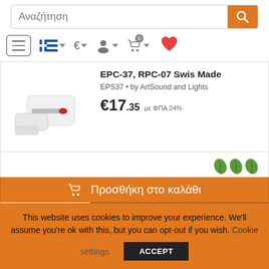[Figure (screenshot): Search bar with orange search button and Greek placeholder text 'Αναζήτηση']
[Figure (screenshot): Navigation bar with hamburger menu, Greek flag with dropdown, euro currency selector, user icon, cart with badge 0, and red heart icon]
[Figure (photo): Product image of a white turntable stylus/needle cartridge with red tip]
EPC-37, RPC-07 Swis Made
EPS37 • by ArtSound and Lights
€17.35 με ΦΠΑ 24%
[Figure (illustration): Three green leaf/plant icons indicating eco or availability status]
Προσθήκη στο καλάθι
Compare
This website uses cookies to improve your experience. We'll assume you're ok with this, but you can opt-out if you wish. Cookie settings
ACCEPT